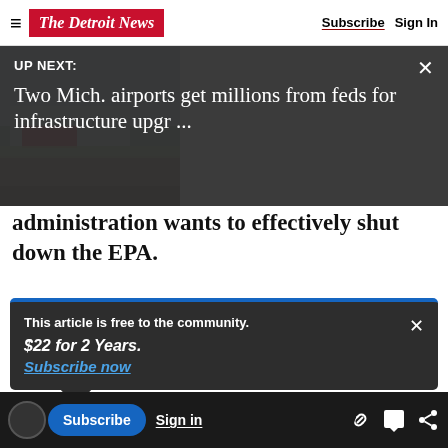The Detroit News — Subscribe | Sign In
[Figure (screenshot): UP NEXT overlay on dark background: 'UP NEXT: Two Mich. airports get millions from feds for infrastructure upgr ...' with close button]
[Figure (photo): Partial photo of an airport tarmac/runway with a red building in background]
administration wants to effectively shut down the EPA.
Advertisement
This article is free to the community.
$22 for 2 Years.
Subscribe now